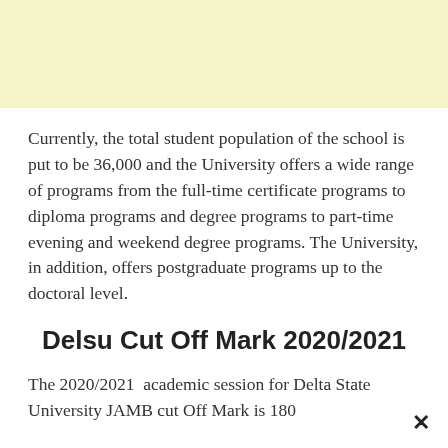Currently, the total student population of the school is put to be 36,000 and the University offers a wide range of programs from the full-time certificate programs to diploma programs and degree programs to part-time evening and weekend degree programs. The University, in addition, offers postgraduate programs up to the doctoral level.
Delsu Cut Off Mark 2020/2021
The 2020/2021  academic session for Delta State University JAMB cut Off Mark is 180
Applicants to the Delta state university for admission for the new session must have sat for and passed th